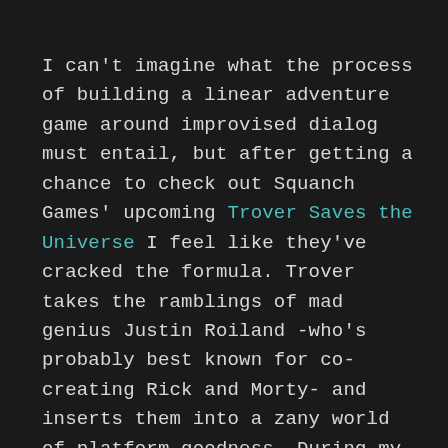I can't imagine what the process of building a linear adventure game around improvised dialog must entail, but after getting a chance to check out Squanch Games' upcoming Trover Saves the Universe I feel like they've cracked the formula. Trover takes the ramblings of mad genius Justin Roiland -who's probably best known for co-creating Rick and Morty- and inserts them into a zany world of platform goodness. During my demo, there was some light puzzling but it ended by giving up and just smashing through the door, which is something I think everyone that's ever got stuck trying to get out of a room so they can get back to the action will appreciate the humor. After playing the interactive absurdist awesomeness that was Accounting+ I'm excited to see what the team at Squanch games can do with a more traditional genre of games.